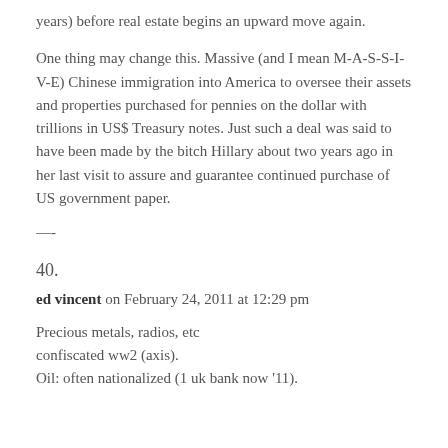years) before real estate begins an upward move again.
One thing may change this. Massive (and I mean M-A-S-S-I-V-E) Chinese immigration into America to oversee their assets and properties purchased for pennies on the dollar with trillions in US$ Treasury notes. Just such a deal was said to have been made by the bitch Hillary about two years ago in her last visit to assure and guarantee continued purchase of US government paper.
—-
40.
ed vincent on February 24, 2011 at 12:29 pm
Precious metals, radios, etc confiscated ww2 (axis). Oil: often nationalized (1 uk bank now '11).